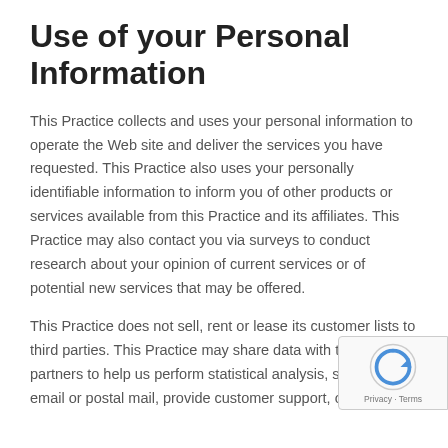Use of your Personal Information
This Practice collects and uses your personal information to operate the Web site and deliver the services you have requested. This Practice also uses your personally identifiable information to inform you of other products or services available from this Practice and its affiliates. This Practice may also contact you via surveys to conduct research about your opinion of current services or of potential new services that may be offered.
This Practice does not sell, rent or lease its customer lists to third parties. This Practice may share data with trusted partners to help us perform statistical analysis, send you email or postal mail, provide customer support, or arrange